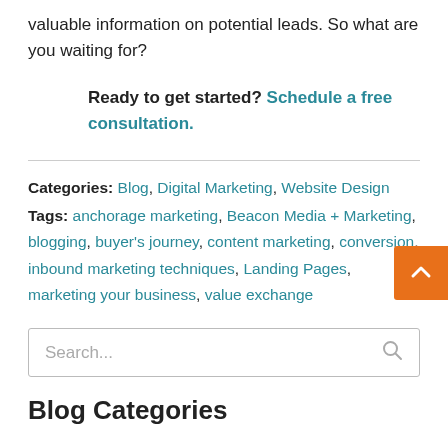valuable information on potential leads. So what are you waiting for?
Ready to get started? Schedule a free consultation.
Categories: Blog, Digital Marketing, Website Design
Tags: anchorage marketing, Beacon Media + Marketing, blogging, buyer's journey, content marketing, conversion, inbound marketing techniques, Landing Pages, marketing your business, value exchange
Search...
Blog Categories